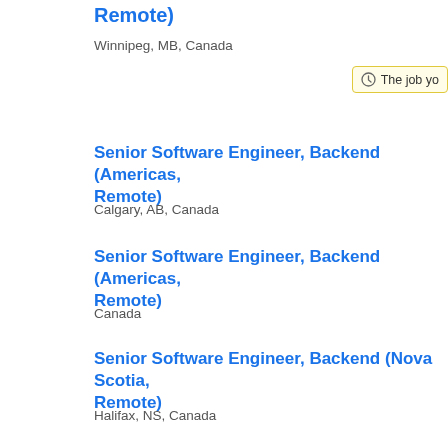Remote)
Winnipeg, MB, Canada
Senior Software Engineer, Backend (Americas, Remote)
Calgary, AB, Canada
Senior Software Engineer, Backend (Americas, Remote)
Canada
Senior Software Engineer, Backend (Nova Scotia, Remote)
Halifax, NS, Canada
Senior Software Engineer (Remote, Europe)
Amsterdam, North Holland, Netherlands
Senior Software Engineer (Remote, Europe)
Sevilla, Spain